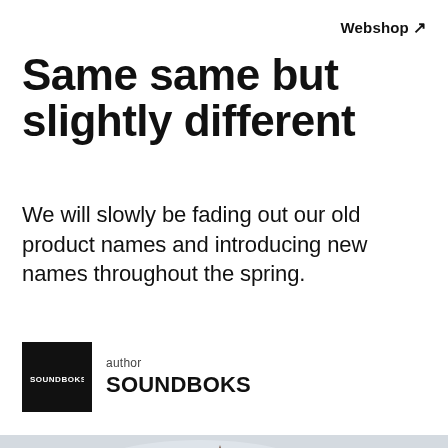Webshop ↗
Same same but ever so slightly different
We will slowly be fading out our old product names and introducing new names throughout the spring.
author
SOUNDBOKS
[Figure (photo): Outdoor scene with people gathered near a brick tower/castle building. A man in a black t-shirt is visible in the center, a woman in a floral dress on the right, with gothic architecture in the background.]